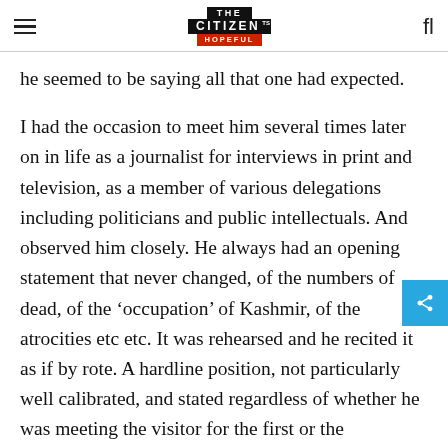THE CITIZEN IS HOPEFUL
he seemed to be saying all that one had expected.
I had the occasion to meet him several times later on in life as a journalist for interviews in print and television, as a member of various delegations including politicians and public intellectuals. And observed him closely. He always had an opening statement that never changed, of the numbers of dead, of the ‘occupation’ of Kashmir, of the atrocities etc etc. It was rehearsed and he recited it as if by rote. A hardline position, not particularly well calibrated, and stated regardless of whether he was meeting the visitor for the first or the umpteenth time.